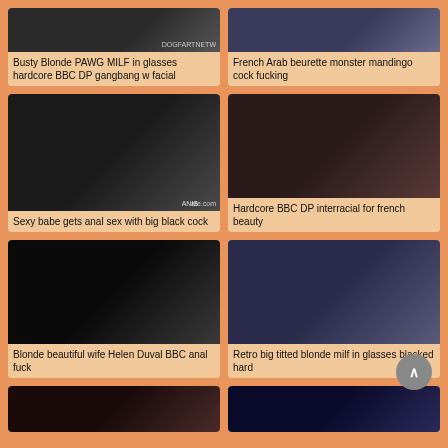[Figure (screenshot): Video thumbnail grid showing adult content listings with titles]
Busty Blonde PAWG MILF in glasses hardcore BBC DP gangbang w facial
French Arab beurette monster mandingo cock fucking
[Figure (screenshot): Video thumbnail]
Sexy babe gets anal sex with big black cock
Hardcore BBC DP interracial for french beauty
[Figure (screenshot): Video thumbnail]
Blonde beautiful wife Helen Duval BBC anal fuck
Retro big titted blonde milf in glasses blacked hard
[Figure (screenshot): Partial video thumbnails at bottom]